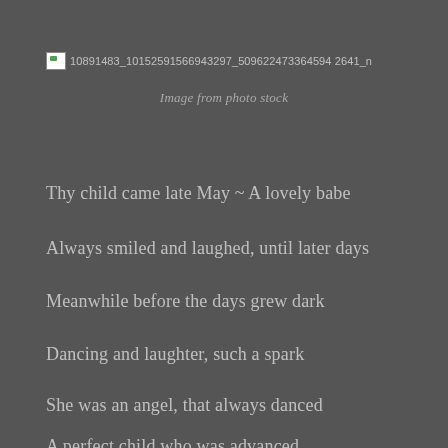[Figure (other): Broken image placeholder with filename 10891483_10152591566943297_509622473364594264 1_n]
Image from photo stock
Thy child came late May ~ A lovely babe
Always smiled and laughed, until later days
Meanwhile before the days grew dark
Dancing and laughter,  such a spark
She was an angel, that always danced
A perfect child who was advanced